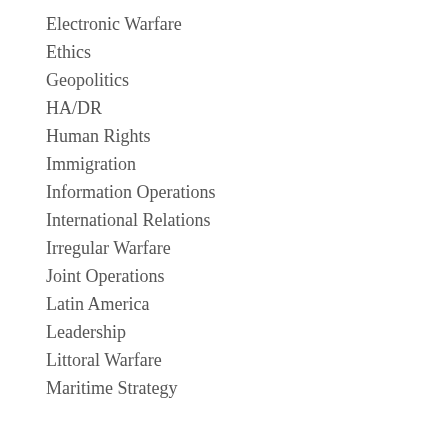Electronic Warfare
Ethics
Geopolitics
HA/DR
Human Rights
Immigration
Information Operations
International Relations
Irregular Warfare
Joint Operations
Latin America
Leadership
Littoral Warfare
Maritime Strategy